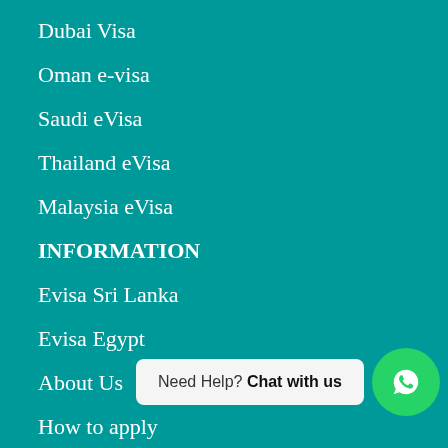Dubai Visa
Oman e-visa
Saudi eVisa
Thailand eVisa
Malaysia eVisa
INFORMATION
Evisa Sri Lanka
Evisa Egypt
About Us
How to apply
Visa Status
EXTRAS
Blog
Need Help? Chat with us